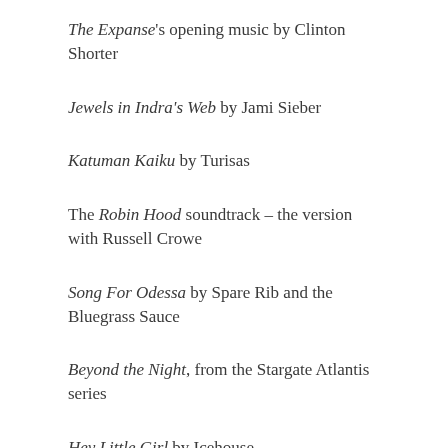The Expanse's opening music by Clinton Shorter
Jewels in Indra's Web by Jami Sieber
Katuman Kaiku by Turisas
The Robin Hood soundtrack – the version with Russell Crowe
Song For Odessa by Spare Rib and the Bluegrass Sauce
Beyond the Night, from the Stargate Atlantis series
Hey Little Girl by Icehouse